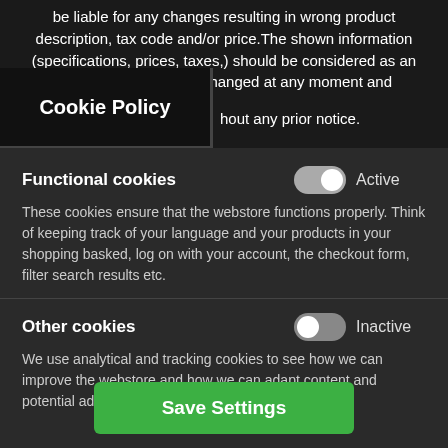be liable for any changes resulting in wrong product description, tax code and/or price. The shown information (specifications, prices, taxes,) should be considered as an indication and can be changed at any moment and without any prior notice.
Cookie Policy
Functional cookies   Active
These cookies ensure that the webstore functions properly. Think of keeping track of your language and your products in your shopping basked, log on with your account, the checkout form, filter search results etc.
Other cookies   Inactive
We use analytical and tracking cookies to see how we can improve the webstore and how we can adapt content and potential advertisements to your preference.
Save Settings